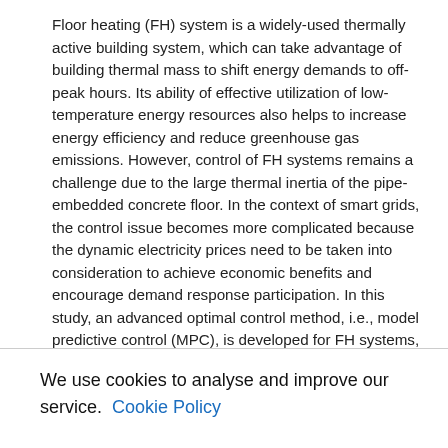Floor heating (FH) system is a widely-used thermally active building system, which can take advantage of building thermal mass to shift energy demands to off-peak hours. Its ability of effective utilization of low-temperature energy resources also helps to increase energy efficiency and reduce greenhouse gas emissions. However, control of FH systems remains a challenge due to the large thermal inertia of the pipe-embedded concrete floor. In the context of smart grids, the control issue becomes more complicated because the dynamic electricity prices need to be taken into consideration to achieve economic benefits and encourage demand response participation. In this study, an advanced optimal control method, i.e., model predictive control (MPC), is developed for FH systems, which can simultaneously consider all the influential variables including weather conditions, occupancy and dynamic electricity prices. Considering the on-line computational efficiency, a control-oriented dynamic thermal model for a room integrated with FH system is developed and represented in a stochastic state-space form. An economic MPC controller, formulated as a mixed integer linear programmi...
We use cookies to analyse and improve our service. Cookie Policy